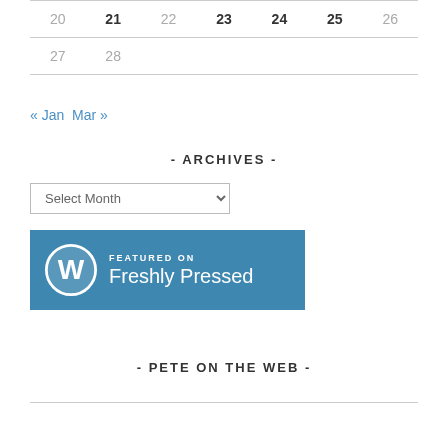| 20 | 21 | 22 | 23 | 24 | 25 | 26 |
| --- | --- | --- | --- | --- | --- | --- |
| 27 | 28 |  |  |  |  |  |
« Jan   Mar »
- ARCHIVES -
[Figure (screenshot): Select Month dropdown widget]
[Figure (logo): Featured on Freshly Pressed WordPress badge]
- PETE ON THE WEB -